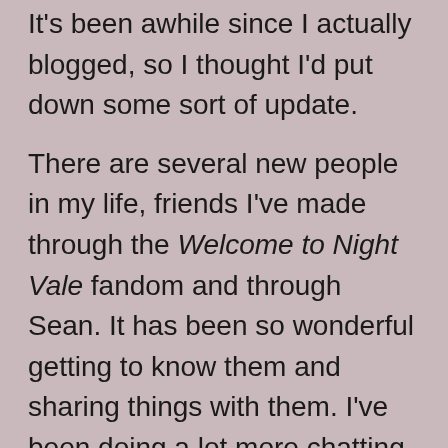It's been awhile since I actually blogged, so I thought I'd put down some sort of update.
There are several new people in my life, friends I've made through the Welcome to Night Vale fandom and through Sean. It has been so wonderful getting to know them and sharing things with them. I've been doing a lot more chatting recently than I had for years. I'd really missed it. So many of my new friends are artists or writers, so we've been inspiring each other to create fanworks, and it's been so much fun.
My online life has sort of shifted; I used to